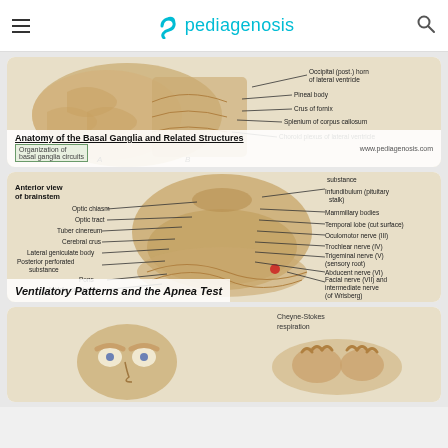pediagenosis
[Figure (illustration): Anatomy of the Basal Ganglia and Related Structures - superior view of brain with labeled structures including Pineal body, Crus of fornix, Splenium of corpus callosum, Choroid plexus of lateral ventricle, Occipital (posterior) horn of lateral ventricle]
Anatomy of the Basal Ganglia and Related Structures
[Figure (illustration): Anterior view of brainstem with labeled cranial nerves and structures: Optic chiasm, Optic tract, Tuber cinereum, Cerebral crus, Lateral geniculate body, Posterior perforated substance, Pons, Middle cerebellar, Olive, Infundibulum (pituitary stalk), Mammillary bodies, Temporal lobe (cut surface), Oculomotor nerve (III), Trochlear nerve (IV), Trigeminal nerve (V) (sensory root), Abducent nerve (VI), Facial nerve (VII) and intermediate nerve (of Wrisberg), Vestibulocochlear nerve (VIII), Flocculus of cerebellum, Choroid plexus of 4th ventricle]
Ventilatory Patterns and the Apnea Test
[Figure (illustration): Illustration related to Ventilatory Patterns and the Apnea Test showing patient faces and hand examination technique, with label 'Cheyne-Stokes respiration']